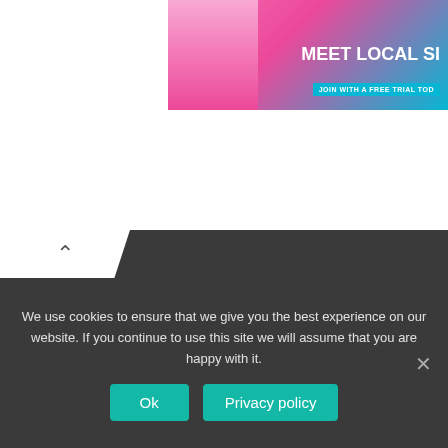[Figure (photo): Advertisement banner showing a woman with text MEET LOCAL SI and JOIN WITH A FREE TRIAL TOD]
Pets
Popular
Short Stories
True Life
Uncategorized
We use cookies to ensure that we give you the best experience on our website. If you continue to use this site we will assume that you are happy with it.